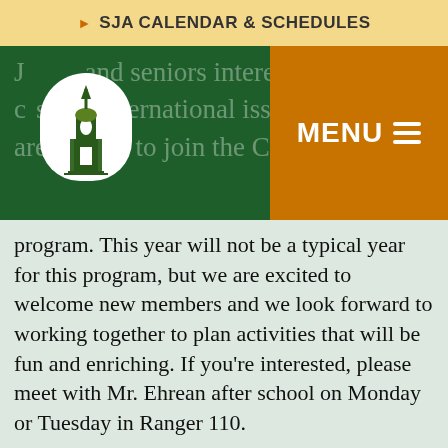SJA CALENDAR & SCHEDULES
[Figure (logo): School logo with bell tower building inside an arch/shield shape on a dark green background with orange MENU button]
Juniors and seniors interested in different cultures and international issues are invited to join the Colwell Scholars program. This year will not be a typical year for this program, but we are excited to welcome new members and we look forward to working together to plan activities that will be fun and enriching. If you're interested, please meet with Mr. Ehrean after school on Monday or Tuesday in Ranger 110.
The following colleges will be providing virtual visits today: Sacred Heart University at 3:00pm, Dartmouth College at 4pm; Colby-Sawyer College at 4:30pm, Franklin & Marshall College at 5:00pm, Hamline University at 5:30pm, and Universal